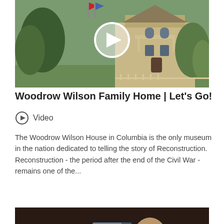[Figure (photo): Thumbnail for a video about the Woodrow Wilson Family Home, showing a Victorian house with trees and flags, with a white play button circle overlay in the center.]
Woodrow Wilson Family Home | Let's Go!
Video
The Woodrow Wilson House in Columbia is the only museum in the nation dedicated to telling the story of Reconstruction. Reconstruction - the period after the end of the Civil War - remains one of the...
[Figure (photo): Thumbnail showing a child from behind reading a map or document outdoors, with a large semi-transparent document/article icon overlay in the center.]